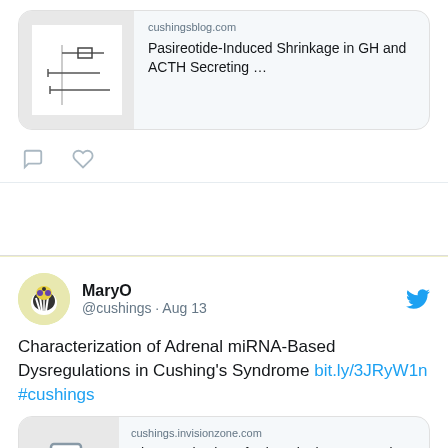[Figure (screenshot): Top portion of a tweet card showing a link preview for 'Pasireotide-Induced Shrinkage in GH and ACTH Secreting ...' from cushingsblog.com with a forest plot image, and comment/like icons below]
MaryO
@cushings · Aug 13
Characterization of Adrenal miRNA-Based Dysregulations in Cushing's Syndrome bit.ly/3JRyW1n #cushings
[Figure (screenshot): Link preview card showing cushings.invisionzone.com with document icon and title 'Characterization of Adrenal miRNA-Based Dysregulation...']
MaryO
@cushings · Aug 11